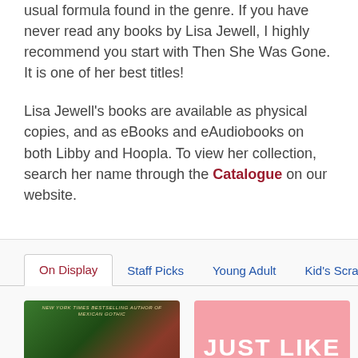usual formula found in the genre. If you have never read any books by Lisa Jewell, I highly recommend you start with Then She Was Gone. It is one of her best titles!
Lisa Jewell's books are available as physical copies, and as eBooks and eAudiobooks on both Libby and Hoopla. To view her collection, search her name through the Catalogue on our website.
On Display | Staff Picks | Young Adult | Kid's Scrapbook
[Figure (photo): Book cover with green ivy/foliage background and reddish wall, partially visible title text]
[Figure (photo): Pink/salmon colored book cover with text JUST LIKE in large white bold letters]